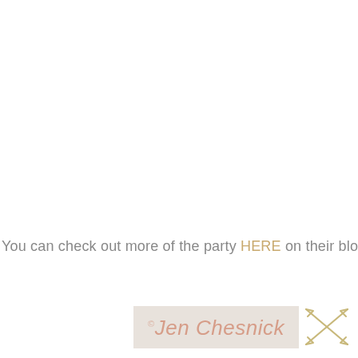You can check out more of the party HERE on their blog.
[Figure (logo): Jen Chesnick signature logo on light grey background with crossed arrows decoration]